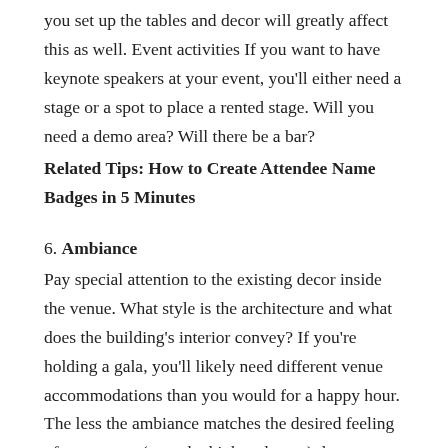you set up the tables and decor will greatly affect this as well. Event activities If you want to have keynote speakers at your event, you'll either need a stage or a spot to place a rented stage. Will you need a demo area? Will there be a bar?
Related Tips: How to Create Attendee Name Badges in 5 Minutes
6. Ambiance
Pay special attention to the existing decor inside the venue. What style is the architecture and what does the building's interior convey? If you're holding a gala, you'll likely need different venue accommodations than you would for a happy hour. The less the ambiance matches the desired feeling of your event (upscale, high tech, etc.) the more decorating you'll need to do to make up for it.